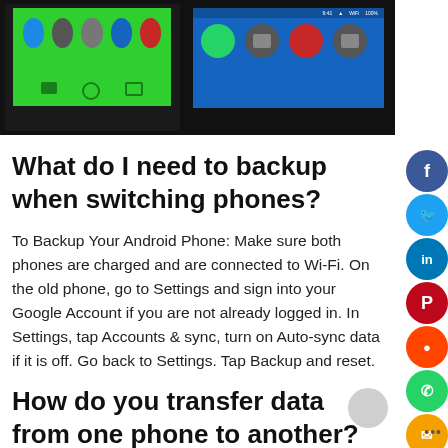[Figure (photo): Two Android smartphones side by side on a dark background. Left phone has a green screen with app icons. Right phone has a blue screen with app icons.]
What do I need to backup when switching phones?
To Backup Your Android Phone: Make sure both phones are charged and are connected to Wi-Fi. On the old phone, go to Settings and sign into your Google Account if you are not already logged in. In Settings, tap Accounts & sync, turn on Auto-sync data if it is off. Go back to Settings. Tap Backup and reset.
How do you transfer data from one phone to another?